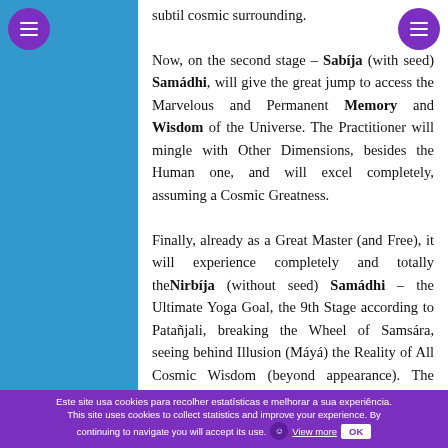subtil cosmic surrounding.

Now, on the second stage – Sabíja (with seed) Samádhi, will give the great jump to access the Marvelous and Permanent Memory and Wisdom of the Universe. The Practitioner will mingle with Other Dimensions, besides the Human one, and will excel completely, assuming a Cosmic Greatness.

Finally, already as a Great Master (and Free), it will experience completely and totally the Nirbíja (without seed) Samádhi – the Ultimate Yoga Goal, the 9th Stage according to Patañjali, breaking the Wheel of Samsára, seeing behind Illusion (Máyá) the Reality of All Cosmic Wisdom (beyond appearance). The Practitioner will feel and know that the All is a part of himself/herself and that He/She is also Everything. The small, petty and ridiculous
Este site usa cookies para recolher estatísticas e melhorar a sua experiência. This site uses cookies to collect statistics and improve your experience. By continuing to navigate you will accept its use. View more OK